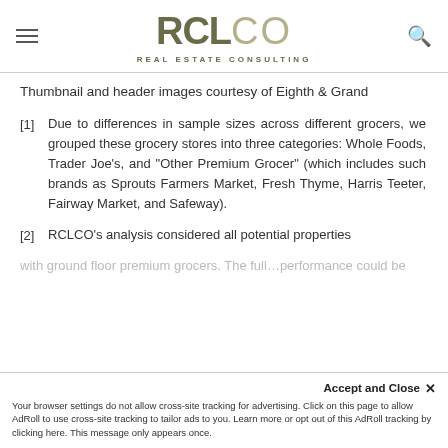RCLCO REAL ESTATE CONSULTING
Thumbnail and header images courtesy of Eighth & Grand
[1] Due to differences in sample sizes across different grocers, we grouped these grocery stores into three categories: Whole Foods, Trader Joe's, and "Other Premium Grocer" (which includes such brands as Sprouts Farmers Market, Fresh Thyme, Harris Teeter, Fairway Market, and Safeway).
[2] RCLCO's analysis considered all potential properties with ground floor premium grocers. The full...
Accept and Close ✕ Your browser settings do not allow cross-site tracking for advertising. Click on this page to allow AdRoll to use cross-site tracking to tailor ads to you. Learn more or opt out of this AdRoll tracking by clicking here. This message only appears once.